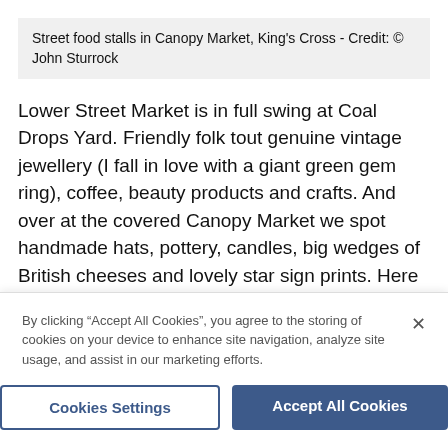Street food stalls in Canopy Market, King's Cross - Credit: © John Sturrock
Lower Street Market is in full swing at Coal Drops Yard. Friendly folk tout genuine vintage jewellery (I fall in love with a giant green gem ring), coffee, beauty products and crafts. And over at the covered Canopy Market we spot handmade hats, pottery, candles, big wedges of British cheeses and lovely star sign prints. Here too are street food vendors selling everything from phad thai to freshly shucked oysters spritzed with lemon or hot sauce
By clicking “Accept All Cookies”, you agree to the storing of cookies on your device to enhance site navigation, analyze site usage, and assist in our marketing efforts.
Cookies Settings
Accept All Cookies